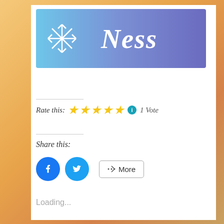[Figure (logo): Banner logo with gradient blue-purple background, snowflake icon on left, and cursive white text reading 'Ness']
Rate this: ★★★★★ ℹ 1 Vote
Share this:
[Figure (other): Social share buttons: Facebook circle button, Twitter circle button, and a More button with share icon]
Loading...